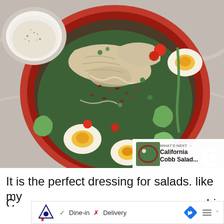[Figure (photo): Overhead view of a red bowl containing Cobb salad with chicken, soft-boiled eggs, avocado, bacon crumbles, cherry tomatoes, and dressing; a white bowl of dressing visible top-left; social media interface overlays including heart icon, share button with count 88, and 'What's Next: California Cobb Salad...' thumbnail]
It is the perfect dressing for salads. like my
C ... bi ...
[Figure (screenshot): Advertisement bar with Topgolf logo, checkmark Dine-in, X Delivery, blue arrow navigation icon, and bar chart icon, partially overlapping text]